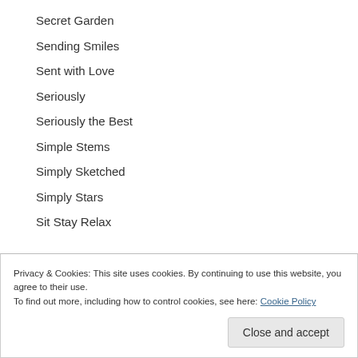Secret Garden
Sending Smiles
Sent with Love
Seriously
Seriously the Best
Simple Stems
Simply Sketched
Simply Stars
Sit Stay Relax
Privacy & Cookies: This site uses cookies. By continuing to use this website, you agree to their use.
To find out more, including how to control cookies, see here: Cookie Policy
Show Hairy Dige Bro